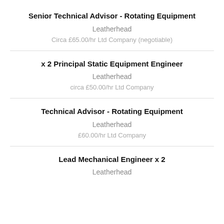Senior Technical Advisor - Rotating Equipment
Leatherhead
Circa £65.00/hr Ltd Company (negotiable)
x 2 Principal Static Equipment Engineer
Leatherhead
circa £50.00/hr Ltd Company
Technical Advisor - Rotating Equipment
Leatherhead
£60.00/hr Ltd Company
Lead Mechanical Engineer x 2
Leatherhead